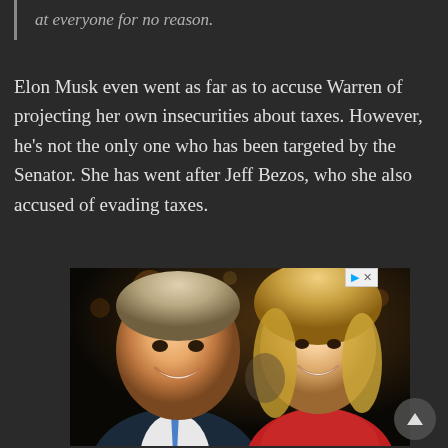at everyone for no reason.
Elon Musk even went as far as to accuse Warren of projecting her own insecurities about taxes. However, he's not the only one who has been targeted by the Senator. She has went after Jeff Bezos, who she also accused of evading taxes.
[Figure (photo): Photo of two people smiling, a man in a suit with a blue tie on the left and a woman with long blonde hair wearing red on the right, at what appears to be a formal event.]